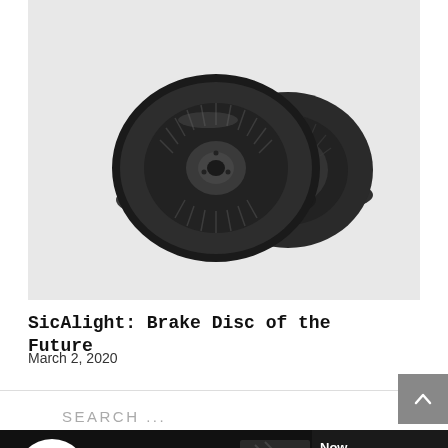[Figure (photo): Two dark metallic brake discs (rotors) shown against a light gray background. The discs have intricate vane/fin patterns. One disc faces forward and the other leans behind it.]
SicAlight: Brake Disc of the Future
March 2, 2020
[Figure (infographic): NRS Galvanized Brake Pads advertisement banner featuring NRS logo, NASCAR Proven Brakes text, image of brake pads and a race car, with text 'Now Available For Your Car!' and website www.nrsbrakes.com]
SEARCH ...